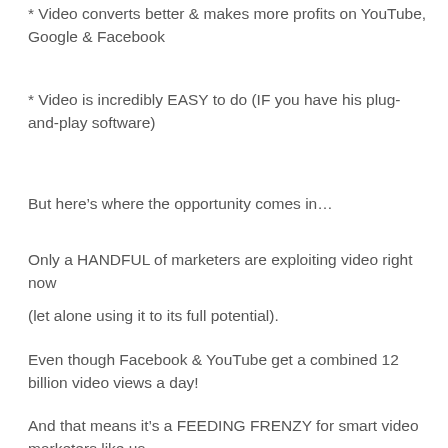* Video converts better & makes more profits on YouTube, Google & Facebook
* Video is incredibly EASY to do (IF you have his plug-and-play software)
But here’s where the opportunity comes in…
Only a HANDFUL of marketers are exploiting video right now
(let alone using it to its full potential).
Even though Facebook & YouTube get a combined 12 billion video views a day!
And that means it’s a FEEDING FRENZY for smart video marketers like us.